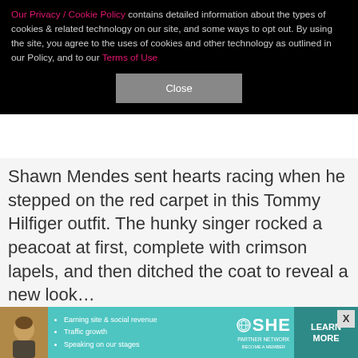Our Privacy / Cookie Policy contains detailed information about the types of cookies & related technology on our site, and some ways to opt out. By using the site, you agree to the uses of cookies and other technology as outlined in our Policy, and to our Terms of Use
Close
Shawn Mendes sent hearts racing when he stepped on the red carpet in this Tommy Hilfiger outfit. The hunky singer rocked a peacoat at first, complete with crimson lapels, and then ditched the coat to reveal a new look…
[Figure (photo): Photo of Shawn Mendes at a red carpet event with people and cameras in the background]
[Figure (infographic): SHE Partner Network advertisement banner: Earning site & social revenue, Traffic growth, Speaking on our stages. Learn More button.]